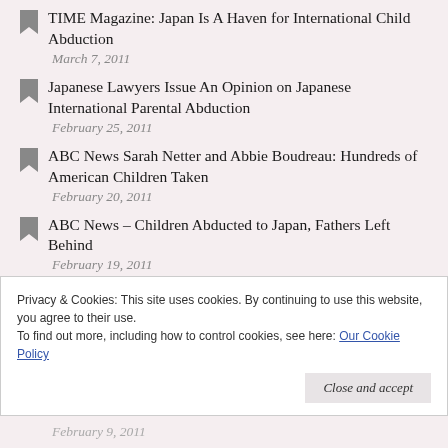TIME Magazine: Japan Is A Haven for International Child Abduction
March 7, 2011
Japanese Lawyers Issue An Opinion on Japanese International Parental Abduction
February 25, 2011
ABC News Sarah Netter and Abbie Boudreau: Hundreds of American Children Taken
February 20, 2011
ABC News – Children Abducted to Japan, Fathers Left Behind
February 19, 2011
Privacy & Cookies: This site uses cookies. By continuing to use this website, you agree to their use.
To find out more, including how to control cookies, see here: Our Cookie Policy
Close and accept
February 9, 2011